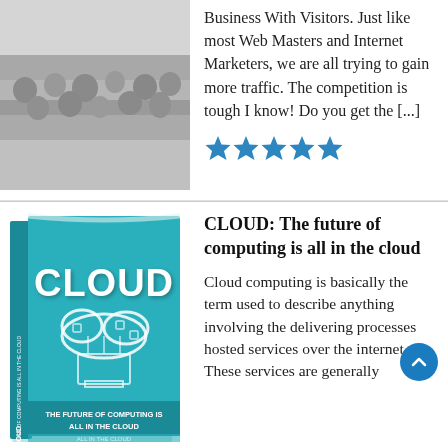Business With Visitors. Just like most Web Masters and Internet Marketers, we are all trying to gain more traffic. The competition is tough I know! Do you get the [...]
[Figure (illustration): Decorative image in the top-left, partially cropped, appears to show people or a crowd]
[Figure (illustration): Five blue star rating icons indicating a 5-star rating]
[Figure (illustration): Book cover: CLOUD: The future of computing is all in the cloud — teal/turquoise book with cloud computing imagery]
CLOUD: The future of computing is all in the cloud
Cloud computing is basically the term used to describe anything involving the delivering processes hosted services over the internet. These services are generally